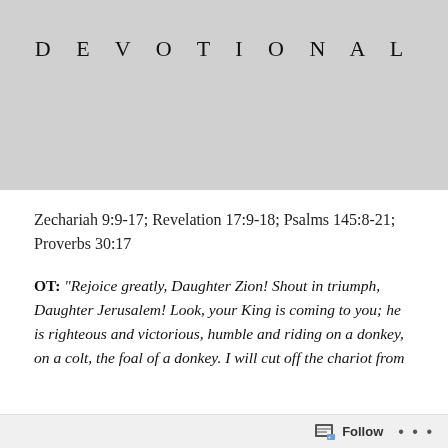DEVOTIONAL
Zechariah 9:9-17; Revelation 17:9-18; Psalms 145:8-21; Proverbs 30:17
OT: “Rejoice greatly, Daughter Zion! Shout in triumph, Daughter Jerusalem! Look, your King is coming to you; he is righteous and victorious, humble and riding on a donkey, on a colt, the foal of a donkey. I will cut off the chariot from
Follow ...